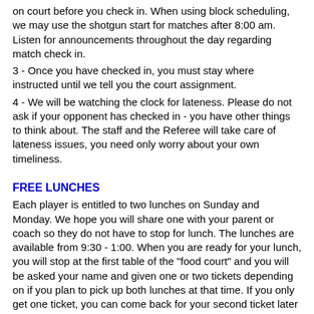on court before you check in. When using block scheduling, we may use the shotgun start for matches after 8:00 am. Listen for announcements throughout the day regarding match check in.
3 - Once you have checked in, you must stay where instructed until we tell you the court assignment.
4 - We will be watching the clock for lateness. Please do not ask if your opponent has checked in - you have other things to think about. The staff and the Referee will take care of lateness issues, you need only worry about your own timeliness.
FREE LUNCHES
Each player is entitled to two lunches on Sunday and Monday. We hope you will share one with your parent or coach so they do not have to stop for lunch. The lunches are available from 9:30 - 1:00. When you are ready for your lunch, you will stop at the first table of the "food court" and you will be asked your name and given one or two tickets depending on if you plan to pick up both lunches at that time. If you only get one ticket, you can come back for your second ticket later if you like. We do it this way because we do not want you to have to keep up with little tickets. When you reach the second table, the lunch staff will ask for your ticket and you will tell them your choice of sandwiches. Most box lunches will include a sandwich, chips, cookie, and a bottled water.
Lunches are provided by Jimmy Johns, Atlanta Bread, Jason's Deli, Jersey Mike's and Mellow Mushroom.